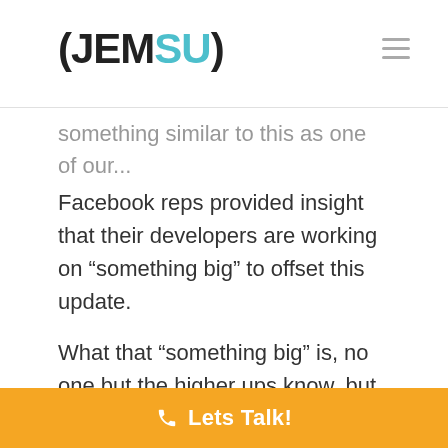(JEMSU)
something similar to this as one of our…
Facebook reps provided insight that their developers are working on “something big” to offset this update.
What that “something big” is, no one but the higher ups know, but I’m confident that the geniuses over there will figure something out especially when their entire future depends on it.
Lets Talk!